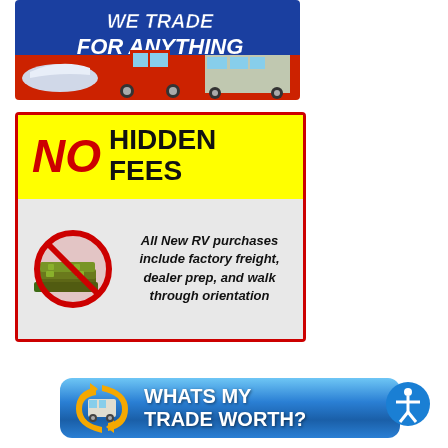[Figure (illustration): Promotional banner showing 'WE TRADE FOR ANYTHING' with images of a boat, red pickup truck, and RV on blue/red background]
[Figure (infographic): NO HIDDEN FEES promotional box. Top half: yellow background with large red 'NO' and black 'HIDDEN FEES' text. Bottom half: gray background with a no-money symbol (cash with red circle-slash) and text 'All New RV purchases include factory freight, dealer prep, and walk through orientation']
[Figure (infographic): Blue button reading 'WHATS MY TRADE WORTH?' with RV and yellow arrow graphic, and an accessibility icon on the right]